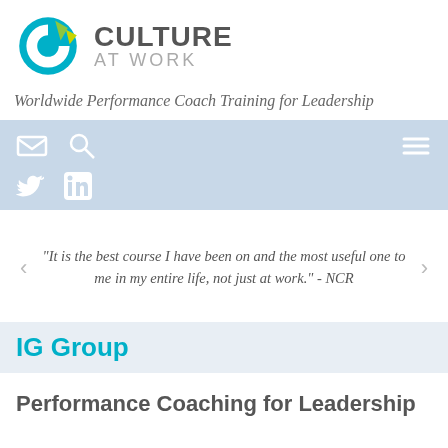[Figure (logo): Culture at Work logo with circular icon in teal/green/yellow and bold grey text 'CULTURE AT WORK']
Worldwide Performance Coach Training for Leadership
[Figure (screenshot): Navigation bar with email icon, search icon, hamburger menu icon, Twitter icon, and LinkedIn icon on light blue background]
“It is the best course I have been on and the most useful one to me in my entire life, not just at work.” - NCR
IG Group
Performance Coaching for Leadership